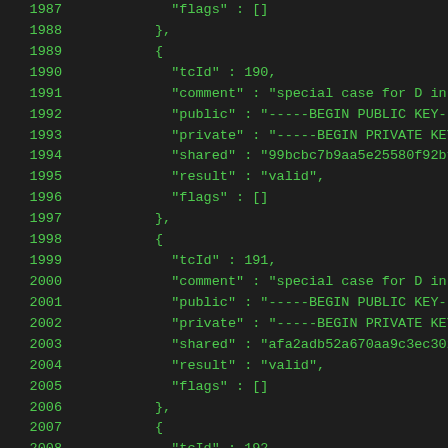Code listing lines 1987-2008, JSON test case data with tcId, comment, public, private, shared, result, and flags fields